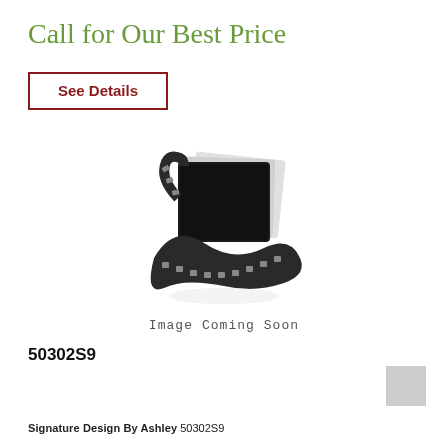Call for Our Best Price
See Details
[Figure (illustration): Film reel wrapped around photo placeholders with 'Image Coming Soon' label beneath]
50302S9
[Figure (other): Small grey color swatch square]
Signature Design By Ashley 50302S9